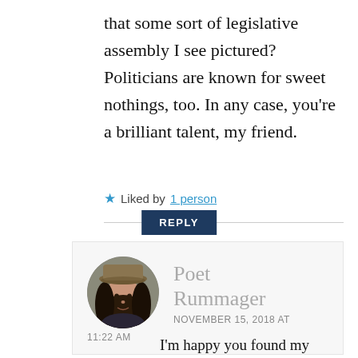that some sort of legislative assembly I see pictured? Politicians are known for sweet nothings, too. In any case, you're a brilliant talent, my friend.
★ Liked by 1 person
REPLY
Poet Rummager
NOVEMBER 15, 2018 AT 11:22 AM
I'm happy you found my poem, Oggy! Yes, it's crazy how politicians